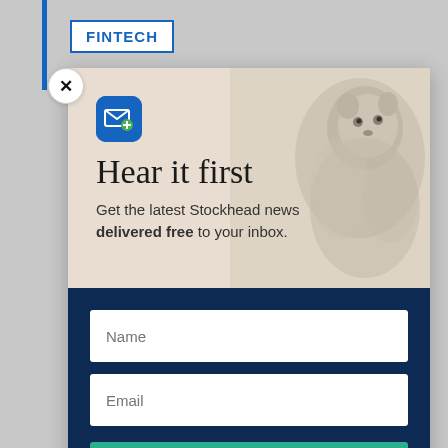FINTECH
[Figure (screenshot): Newsletter signup modal popup for Stockhead with groundhog/marmot animal background image, email icon, title 'Hear it first', subtitle text, name input, email input, and sign me up button]
Hear it first
Get the latest Stockhead news delivered free to your inbox.
Name
Email
SIGN ME UP